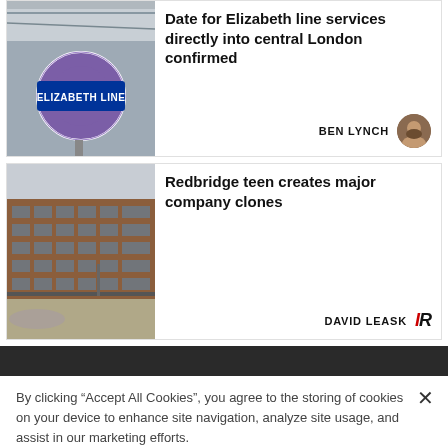[Figure (photo): Elizabeth line tube station sign, purple circle with ELIZABETH LINE text in blue rectangle]
Date for Elizabeth line services directly into central London confirmed
BEN LYNCH
[Figure (photo): Multi-storey brick office building exterior, grey sky background]
Redbridge teen creates major company clones
DAVID LEASK  IR
By clicking "Accept All Cookies", you agree to the storing of cookies on your device to enhance site navigation, analyze site usage, and assist in our marketing efforts.
Cookies Settings
Accept All Cookies